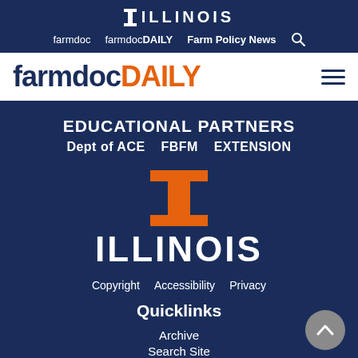I ILLINOIS
farmdoc  farmdocDAILY  Farm Policy News
[Figure (logo): farmdocDAILY logo in dark navy and orange on white background with hamburger menu icon]
EDUCATIONAL PARTNERS
Dept of ACE   FBFM   EXTENSION
[Figure (logo): University of Illinois Block-I logo in orange on dark navy background, with ILLINOIS wordmark below]
Copyright   Accessibility   Privacy
Quicklinks
Archive
Search Site